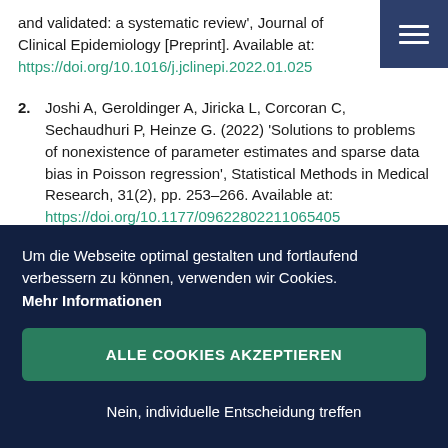and validated: a systematic review', Journal of Clinical Epidemiology [Preprint]. Available at: https://doi.org/10.1016/j.jclinepi.2022.01.025
2. Joshi A, Geroldinger A, Jiricka L, Corcoran C, Sechaudhuri P, Heinze G. (2022) 'Solutions to problems of nonexistence of parameter estimates and sparse data bias in Poisson regression', Statistical Methods in Medical Research, 31(2), pp. 253–266. Available at: https://doi.org/10.1177/09622802211065405
Um die Webseite optimal gestalten und fortlaufend verbessern zu können, verwenden wir Cookies. Mehr Informationen
ALLE COOKIES AKZEPTIEREN
Nein, individuelle Entscheidung treffen